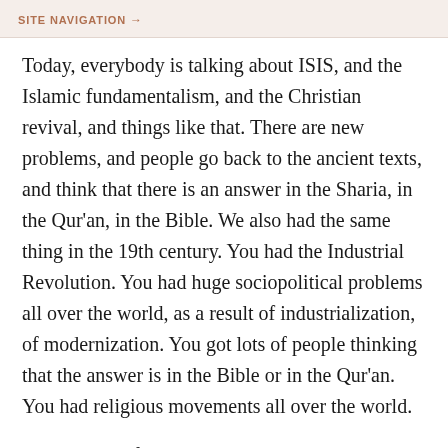SITE NAVIGATION →
Today, everybody is talking about ISIS, and the Islamic fundamentalism, and the Christian revival, and things like that. There are new problems, and people go back to the ancient texts, and think that there is an answer in the Sharia, in the Qur'an, in the Bible. We also had the same thing in the 19th century. You had the Industrial Revolution. You had huge sociopolitical problems all over the world, as a result of industrialization, of modernization. You got lots of people thinking that the answer is in the Bible or in the Qur'an. You had religious movements all over the world.
In the Sudan, for example, you have the Mahdi establishing Muslim theocracy according to the Sharia. An Anglo-Egyptian army comes to suppress the